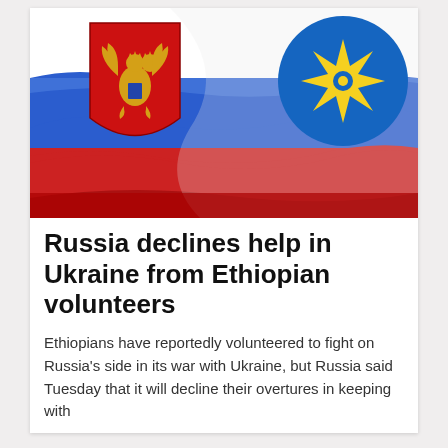[Figure (illustration): Composite image showing Russian flag with Russian coat of arms (double-headed eagle on red shield) on the left and Ethiopian flag emblem (blue circle with yellow star) on the right, both overlaid on a waving Russian tricolor flag background.]
Russia declines help in Ukraine from Ethiopian volunteers
Ethiopians have reportedly volunteered to fight on Russia's side in its war with Ukraine, but Russia said Tuesday that it will decline their overtures in keeping with